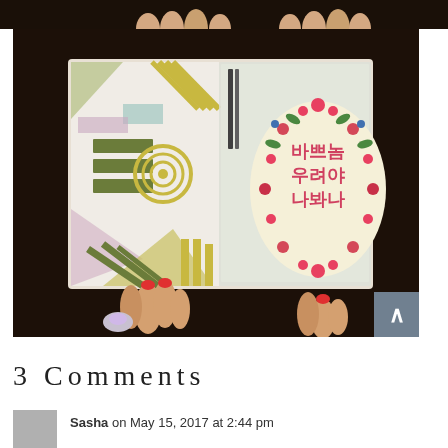[Figure (photo): Partial view of a person's hands (with red painted nails) holding open a planner/notebook with colorful geometric patterned pages and a Korean-language floral card on the right side. Dark wooden table background.]
3 Comments
Sasha on May 15, 2017 at 2:44 pm